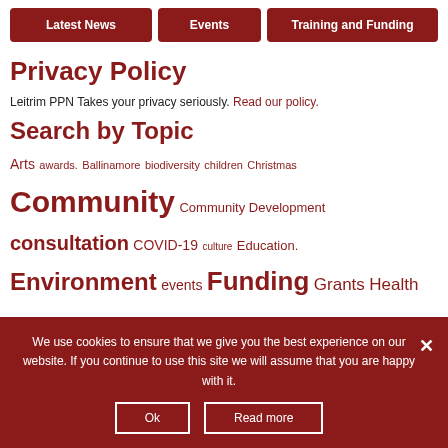Latest News | Events | Training and Funding
Privacy Policy
Leitrim PPN Takes your privacy seriously. Read our policy.
Search by Topic
Arts awards. Ballinamore biodiversity children Christmas Community Community Development consultation COVID-19 culture Education. Environment events Funding Grants Health heritage Housing information Leitrim Leitrim Community Leitrim County Council
We use cookies to ensure that we give you the best experience on our website. If you continue to use this site we will assume that you are happy with it.